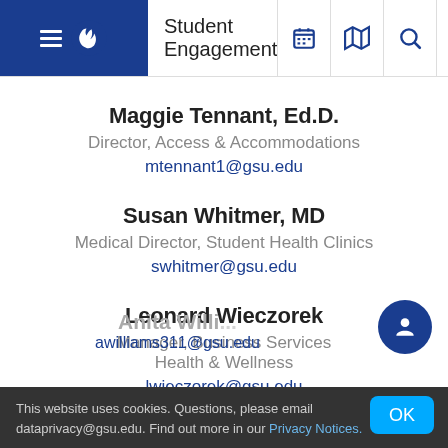Student Engagement
Maggie Tennant, Ed.D.
Director, Access & Accommodations
mtennant1@gsu.edu
Susan Whitmer, MD
Medical Director, Student Health Clinics
swhitmer@gsu.edu
Leonard Wieczorek
Manager, Business Services
Health & Wellness
lwieczorek@gsu.edu
Anita Williams (partially visible)
awilliams311@gsu.edu (partially visible)
This website uses cookies. Questions, please email dataprivacy@gsu.edu. Find out more in our Privacy Notices.